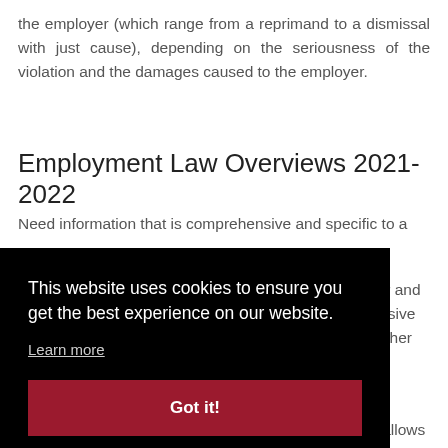the employer (which range from a reprimand to a dismissal with just cause), depending on the seriousness of the violation and the damages caused to the employer.
Employment Law Overviews 2021-2022
Need information that is comprehensive and specific to a country? Our and clusive together
This website uses cookies to ensure you get the best experience on our website.
Learn more
Got it!
Our unique and innovative Country Comparison Tool allows